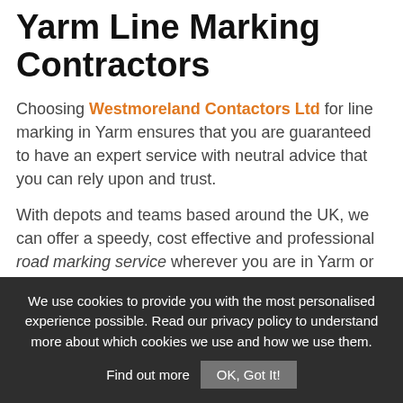Yarm Line Marking Contractors
Choosing Westmoreland Contactors Ltd for line marking in Yarm ensures that you are guaranteed to have an expert service with neutral advice that you can rely upon and trust.
With depots and teams based around the UK, we can offer a speedy, cost effective and professional road marking service wherever you are in Yarm or the rest of the UK, whatever the project size.
We use cookies to provide you with the most personalised experience possible. Read our privacy policy to understand more about which cookies we use and how we use them. Find out more  OK, Got It!